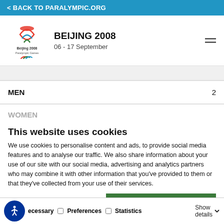< BACK TO PARALYMPIC.ORG
[Figure (logo): Beijing 2008 Paralympic Games logo with IPC logo]
BEIJING 2008
06 - 17 September
| MEN | 2 |
| WOMEN |  |
This website uses cookies
We use cookies to personalise content and ads, to provide social media features and to analyse our traffic. We also share information about your use of our site with our social media, advertising and analytics partners who may combine it with other information that you've provided to them or that they've collected from your use of their services.
Allow all cookies
Allow selection
Use necessary cookies on
ecessary  Preferences  Statistics  Show details  Marketing